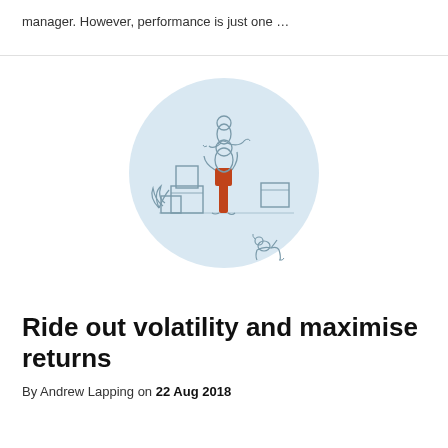manager. However, performance is just one …
[Figure (illustration): Illustration of a person lifting another person against a light blue circle background, with moving boxes and a dog nearby, suggesting moving or activity.]
Ride out volatility and maximise returns
By Andrew Lapping on 22 Aug 2018